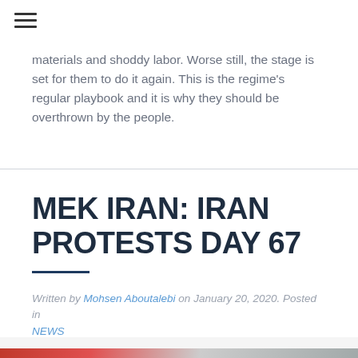☰
materials and shoddy labor. Worse still, the stage is set for them to do it again. This is the regime's regular playbook and it is why they should be overthrown by the people.
MEK IRAN: IRAN PROTESTS DAY 67
Written by Mohsen Aboutalebi on January 20, 2020. Posted in NEWS
[Figure (photo): Partial view of a photograph showing blurred colorful background, bottom of page]